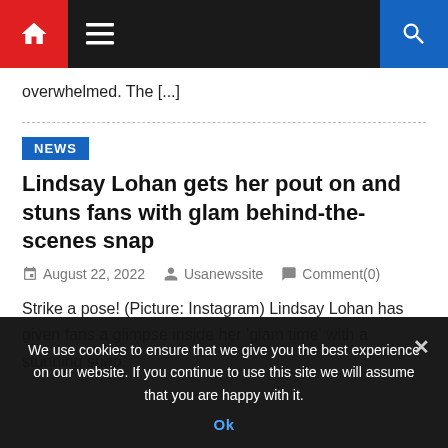[Figure (screenshot): Website navigation bar with red home icon button, hamburger menu icon, and blue search button on dark background]
overwhelmed. The [...]
NEWS
Lindsay Lohan gets her pout on and stuns fans with glam behind-the-scenes snap
August 22, 2022   Usanewssite   Comment(0)
Strike a pose! (Picture: Instagram) Lindsay Lohan has given fans a glimpse inside her 'glam time' with a stunning snap.
We use cookies to ensure that we give you the best experience on our website. If you continue to use this site we will assume that you are happy with it. Ok